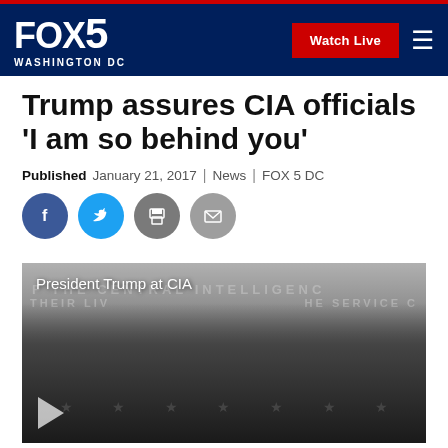FOX 5 WASHINGTON DC | Watch Live
Trump assures CIA officials 'I am so behind you'
Published January 21, 2017 | News | FOX 5 DC
[Figure (screenshot): Social sharing icons: Facebook (blue circle), Twitter (light blue circle), Print (gray circle), Email (gray circle)]
[Figure (photo): Video thumbnail showing President Trump at CIA headquarters, with text overlay 'President Trump at CIA'. Trump is gesturing with his hand raised, standing in front of a CIA wall. A play button is visible at the bottom left.]